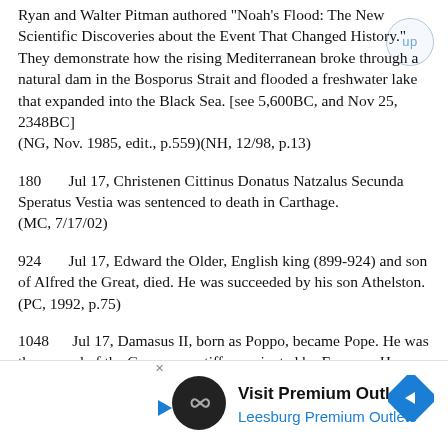Ryan and Walter Pitman authored "Noah's Flood: The New Scientific Discoveries about the Event That Changed History." They demonstrate how the rising Mediterranean broke through a natural dam in the Bosporus Strait and flooded a freshwater lake that expanded into the Black Sea. [see 5,600BC, and Nov 25, 2348BC]
    (NG, Nov. 1985, edit., p.559)(NH, 12/98, p.13)
180    Jul 17, Christenen Cittinus Donatus Natzalus Secunda Speratus Vestia was sentenced to death in Carthage.
    (MC, 7/17/02)
924    Jul 17, Edward the Older, English king (899-924) and son of Alfred the Great, died. He was succeeded by his son Athelston.
    (PC, 1992, p.75)
1048    Jul 17, Damasus II, born as Poppo, became Pope. He was the second of the German pontiffs nominated by Emperor Henry III.
[Figure (other): Advertisement banner for Visit Premium Outlets - Leesburg Premium Outlets with logo, play button, and direction arrow icon]